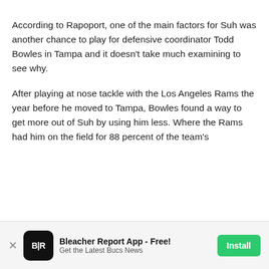According to Rapoport, one of the main factors for Suh was another chance to play for defensive coordinator Todd Bowles in Tampa and it doesn't take much examining to see why.
After playing at nose tackle with the Los Angeles Rams the year before he moved to Tampa, Bowles found a way to get more out of Suh by using him less. Where the Rams had him on the field for 88 percent of the team's
[Figure (other): Bleacher Report app advertisement banner at the bottom of the page with B/R logo, title 'Bleacher Report App - Free!', subtitle 'Get the Latest Bucs News', and green Install button. A close (x) button is on the left and a dismiss circle X is overlaid at the right edge of the content area.]